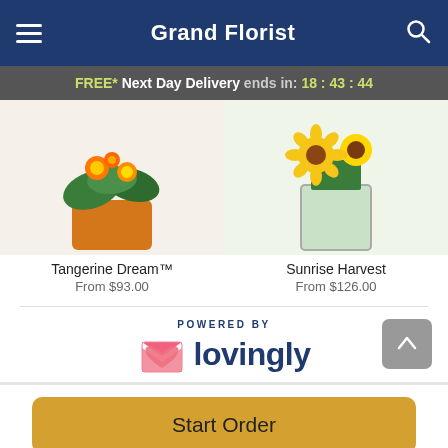Grand Florist
FREE* Next Day Delivery ends in: 18:43:44
[Figure (photo): Product photo of Tangerine Dream floral arrangement in orange pot with sunflowers and greenery]
Tangerine Dream™
From $93.00
[Figure (photo): Product photo of Sunrise Harvest floral arrangement in clear glass vase with sunflowers and greenery]
Sunrise Harvest
From $126.00
[Figure (logo): Powered by Lovingly logo with pink heart icon]
Start Order